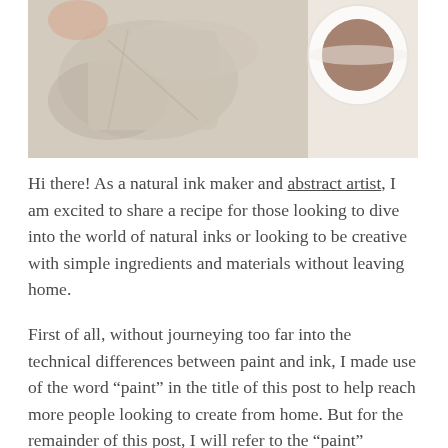[Figure (photo): Top portion of a photo showing hands holding a tea bag or cloth near a cup of dark tea/ink on a light background]
Hi there! As a natural ink maker and abstract artist, I am excited to share a recipe for those looking to dive into the world of natural inks or looking to be creative with simple ingredients and materials without leaving home.
First of all, without journeying too far into the technical differences between paint and ink, I made use of the word “paint” in the title of this post to help reach more people looking to create from home. But for the remainder of this post, I will refer to the “paint” created from tea as INK.